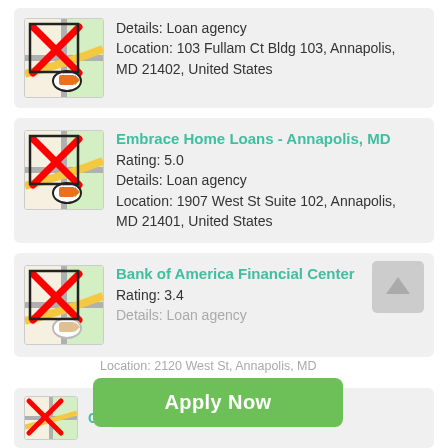[Figure (screenshot): Map icon with red X overlay and pencil icon for first listing (partial, top of page)]
Details: Loan agency
Location: 103 Fullam Ct Bldg 103, Annapolis, MD 21402, United States
[Figure (screenshot): Map icon with red X overlay and pencil icon for Embrace Home Loans listing]
Embrace Home Loans - Annapolis, MD
Rating: 5.0
Details: Loan agency
Location: 1907 West St Suite 102, Annapolis, MD 21401, United States
[Figure (screenshot): Map icon with red X overlay and pencil icon for Bank of America listing]
Bank of America Financial Center
Rating: 3.4
Details: Loan agency
Location: 2120 West St, Annapolis, MD 21401, United States
Apply Now
Applying does NOT affect your credit score!
No credit check to apply.
Capital One Bank